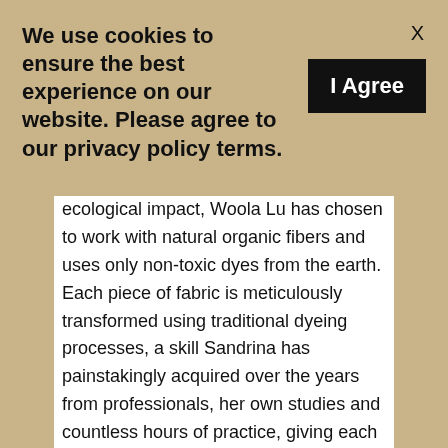We use cookies to ensure the best experience on our website. Please agree to our privacy policy terms.
I Agree
ecological impact, Woola Lu has chosen to work with natural organic fibers and uses only non-toxic dyes from the earth. Each piece of fabric is meticulously transformed using traditional dyeing processes, a skill Sandrina has painstakingly acquired over the years from professionals, her own studies and countless hours of practice, giving each piece a unique and singular appearance. Partnerships have been set up with local restaurants and florists near her studio in Lyon for the